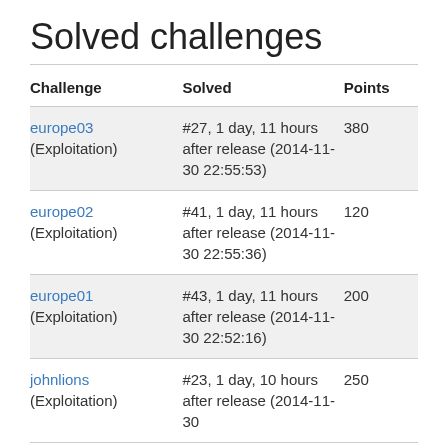Solved challenges
| Challenge | Solved | Points |
| --- | --- | --- |
| europe03
(Exploitation) | #27, 1 day, 11 hours after release
(2014-11-30 22:55:53) | 380 |
| europe02
(Exploitation) | #41, 1 day, 11 hours after release
(2014-11-30 22:55:36) | 120 |
| europe01
(Exploitation) | #43, 1 day, 11 hours after release
(2014-11-30 22:52:16) | 200 |
| johnlions
(Exploitation) | #23, 1 day, 10 hours after release
(2014-11-30 | 250 |